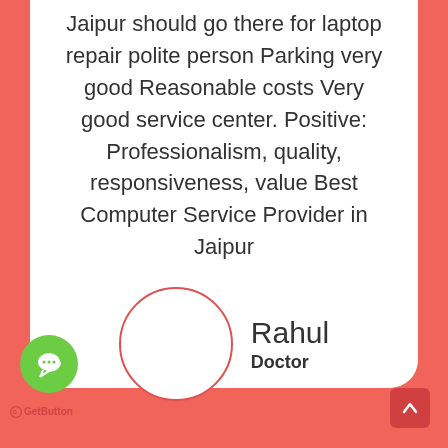Jaipur should go there for laptop repair polite person Parking very good Reasonable costs Very good service center. Positive: Professionalism, quality, responsiveness, value Best Computer Service Provider in Jaipur
[Figure (illustration): Circular avatar placeholder with red/coral border, next to name Rahul with role Doctor]
Rahul
Doctor